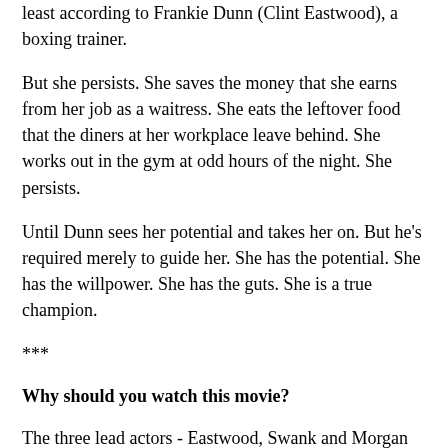least according to Frankie Dunn (Clint Eastwood), a boxing trainer.
But she persists. She saves the money that she earns from her job as a waitress. She eats the leftover food that the diners at her workplace leave behind. She works out in the gym at odd hours of the night. She persists.
Until Dunn sees her potential and takes her on. But he's required merely to guide her. She has the potential. She has the willpower. She has the guts. She is a true champion.
***
Why should you watch this movie?
The three lead actors - Eastwood, Swank and Morgan Freeman (who is his usual brilliant self)- themselves make it worth watching. The film is darkly humourous - if you have the stomach for it. Eastwood, as usual, allows no bright colours in his movie. Everything is dark and "gritty".
Then there's the inspiration factor. Do you have a secret dream that you are holding yourself back from chasing? Just watch the first half of this movie. You'll find yourself